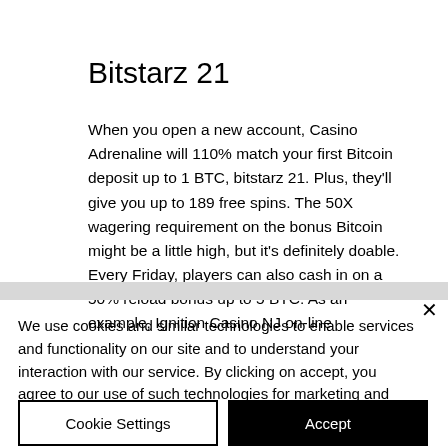Bitstarz 21
When you open a new account, Casino Adrenaline will 110% match your first Bitcoin deposit up to 1 BTC, bitstarz 21. Plus, they'll give you up to 189 free spins. The 50X wagering requirement on the bonus Bitcoin might be a little high, but it's definitely doable. Every Friday, players can also cash in on a 50% reload bonus up to 5 BTC. As an example, Ignition Casino NJ on-line
We use cookies and similar technologies to enable services and functionality on our site and to understand your interaction with our service. By clicking on accept, you agree to our use of such technologies for marketing and analytics.